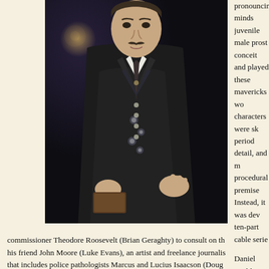[Figure (photo): A man in Victorian-era clothing — dark tweed overcoat, ornate floral waistcoat, white shirt and dark tie with a pin — seated, holding what appears to be a book or small object, photographed against a dark urban background.]
...pronouncing minds...juvenile male pros...conceit and played...these mavericks wo...characters were sk...period detail, and m...procedural premise...Instead, it was dev...ten-part cable serie...
Daniel Brühl is psy...alienist of the title. ...century, persons su...alienated from their...therefore known as...commissioner Theodore Roosevelt (Brian Geraghty) to consult on th...his friend John Moore (Luke Evans), an artist and freelance journalis...that includes police pathologists Marcus and Lucius Isaacson (Doug...sidelined by the Irish old boys' club, and Roosevelt's secretary Sara...the chauvinistic force.